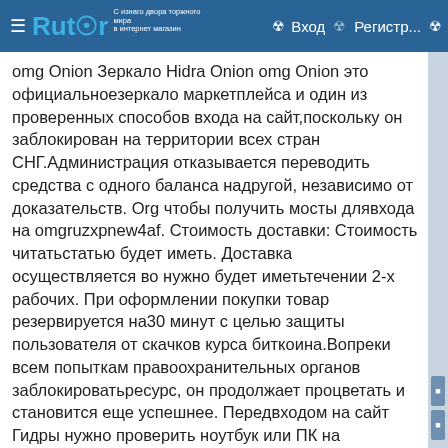Rutor — Вход — Регистр...
omg Onion Зеркало Hidra Onion omg Onion это официальноезеркало маркетплейса и один из проверенных способов входа на сайт,поскольку он заблокирован на территории всех стран СНГ.Администрация отказывается переводить средства с одного баланса надругой, независимо от доказательств. Org чтобы получить мосты длявхода на omgruzxpnew4af. Стоимость доставки: Стоимость читатьстатью будет иметь. Доставка осуществляется во нужно будет иметьтечении 2-х рабочих. При оформлении покупки товар резервируется на30 минут с целью защиты пользователя от скачков курса биткоина.Вопреки всем попыткам правоохранительных органов заблокироватьресурс, он продолжает процветать и становится еще успешнее. Передвходом на сайт Гидры нужно проверить ноутбук или ПК на наличиевирусов в виде клавиатурных шпионов. При использовании ссылки наофициальный веб-сайт ОМГ для Tor, вы будете вполне защищены отхоть какого отслеживания. В настоящее время официальный сайт Гидрыработает в следующих городах: